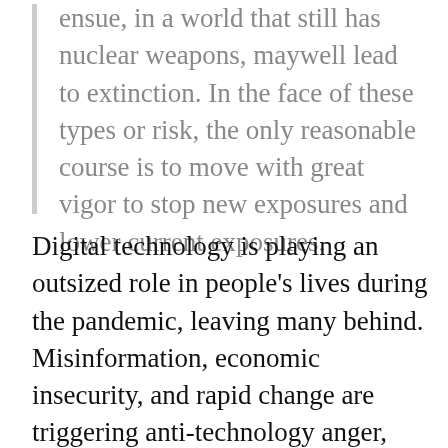ensue, in a world that still has nuclear weapons, maywell lead to extinction. In the face of these types or risk, the only reasonable course is to move with great vigor to stop new exposures and lower current exposures.
Digital technology is playing an outsized role in people's lives during the pandemic, leaving many behind. Misinformation, economic insecurity, and rapid change are triggering anti-technology anger, especially against the high tech and telecommunications industries, fragile backbones of a digital economy. If